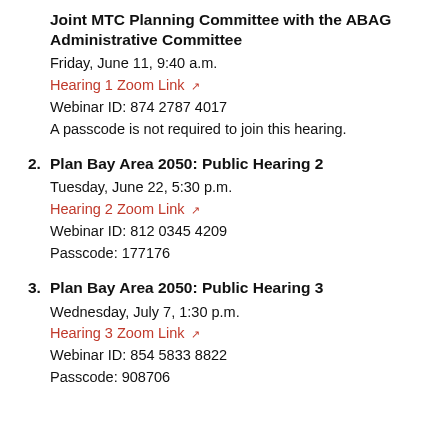Joint MTC Planning Committee with the ABAG Administrative Committee
Friday, June 11, 9:40 a.m.
Hearing 1 Zoom Link
Webinar ID: 874 2787 4017
A passcode is not required to join this hearing.
2. Plan Bay Area 2050: Public Hearing 2
Tuesday, June 22, 5:30 p.m.
Hearing 2 Zoom Link
Webinar ID: 812 0345 4209
Passcode: 177176
3. Plan Bay Area 2050: Public Hearing 3
Wednesday, July 7, 1:30 p.m.
Hearing 3 Zoom Link
Webinar ID: 854 5833 8822
Passcode: 908706